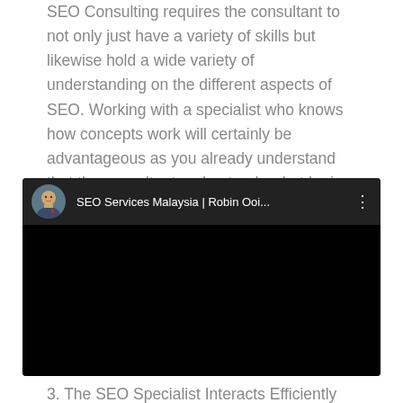SEO Consulting requires the consultant to not only just have a variety of skills but likewise hold a wide variety of understanding on the different aspects of SEO. Working with a specialist who knows how concepts work will certainly be advantageous as you already understand that the consultant understands what he is doing.
[Figure (screenshot): Embedded YouTube video thumbnail with dark background, showing channel avatar and title 'SEO Services Malaysia | Robin Ooi...' with three-dot menu icon]
3. The SEO Specialist Interacts Efficiently